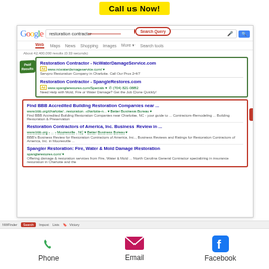Call us Now!
[Figure (screenshot): Google search results page showing 'restoration contractor' query with Paid Results (green border) and Organic Results (red border) labeled with arrows. Paid results show NcWaterDamageService.com and SpangleRestores.com. Organic results show BBB building restoration, Restoration Contractors of America, and Spangler Restoration listings.]
[Figure (screenshot): Mobile website navigation bar at the bottom with Phone (green phone icon), Email (pink envelope icon), and Facebook (blue F icon) options.]